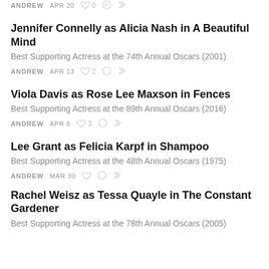ANDREW · APR 20 · ♡ 0 · comment · share
Jennifer Connelly as Alicia Nash in A Beautiful Mind
Best Supporting Actress at the 74th Annual Oscars (2001)
ANDREW · APR 13 · ♡ 2 · comment · share
Viola Davis as Rose Lee Maxson in Fences
Best Supporting Actress at the 89th Annual Oscars (2016)
ANDREW · APR 6 · ♡ 3 · comment · share
Lee Grant as Felicia Karpf in Shampoo
Best Supporting Actress at the 48th Annual Oscars (1975)
ANDREW · MAR 30 · ♡ · comment · share
Rachel Weisz as Tessa Quayle in The Constant Gardener
Best Supporting Actress at the 78th Annual Oscars (2005)